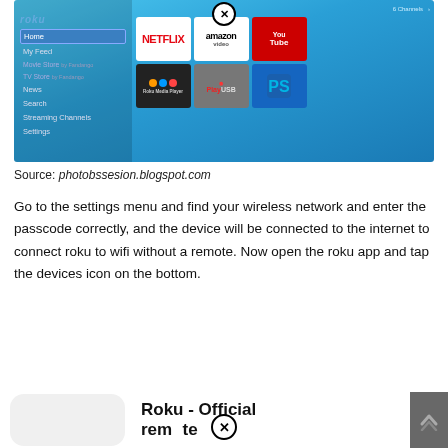[Figure (screenshot): Roku home screen showing sidebar menu with Home selected, and channel tiles including Netflix, Amazon Video, YouTube, Roku Media Player, PlayUSB, and PlayStation. A close/X button overlay appears at the top center.]
Source: photobssesion.blogspot.com
Go to the settings menu and find your wireless network and enter the passcode correctly, and the device will be connected to the internet to connect roku to wifi without a remote. Now open the roku app and tap the devices icon on the bottom.
[Figure (screenshot): Roku - Official remote app icon (partially visible at bottom of page) with a close/X button overlay and a scroll-up indicator on the right.]